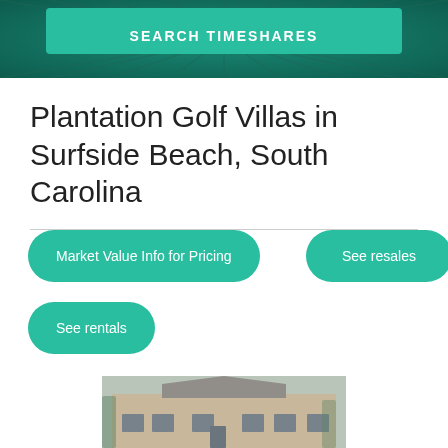SEARCH TIMESHARES
Plantation Golf Villas in Surfside Beach, South Carolina
Market Value Info for Pricing
See resales
See rentals
[Figure (photo): Exterior photograph of a stone/brick villa building with a peaked roof, windows, and ivy growing on the walls — Plantation Golf Villas property photo]